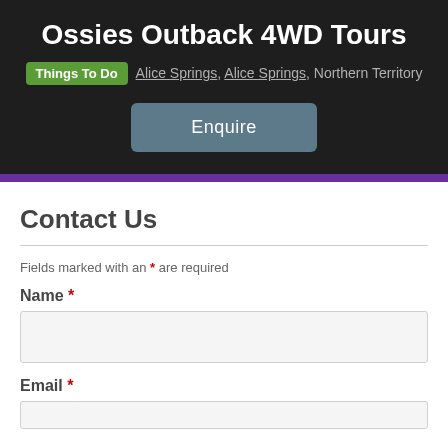Ossies Outback 4WD Tours
Things To Do   Alice Springs, Alice Springs, Northern Territory
Enquire
Contact Us
Fields marked with an * are required
Name *
Email *